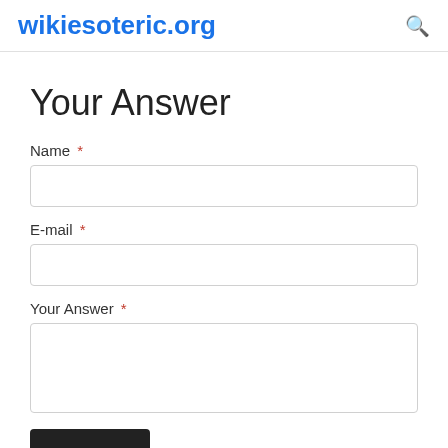wikiesoteric.org
Your Answer
Name *
E-mail *
Your Answer *